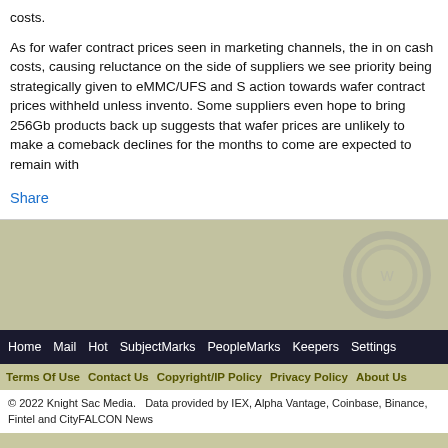costs.
As for wafer contract prices seen in marketing channels, the in on cash costs, causing reluctance on the side of suppliers we see priority being strategically given to eMMC/UFS and S action towards wafer contract prices withheld unless invento. Some suppliers even hope to bring 256Gb products back up suggests that wafer prices are unlikely to make a comeback declines for the months to come are expected to remain with
Share
[Figure (logo): Circular logo watermark, partially visible, light gray]
Home   Mail   Hot   SubjectMarks   PeopleMarks   Keepers   Settings
Terms Of Use   Contact Us   Copyright/IP Policy   Privacy Policy   About Us
© 2022 Knight Sac Media.  Data provided by IEX, Alpha Vantage, Coinbase, Binance, Fintel and CityFALCON News